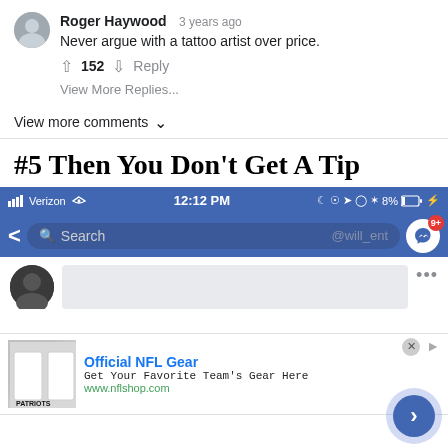Roger Haywood  3 years ago
Never argue with a tattoo artist over price.
↑ 152 ↓  Reply
View More Replies...
View more comments ∨
#5 Then You Don't Get A Tip
[Figure (screenshot): Mobile phone screenshot of a Facebook app showing status bar with Verizon, 12:12 PM, 8% battery, a search bar with 'Search' placeholder and @will_ent watermark, a messenger icon with 9+ notification badge, a blurred profile post area, and an NFL gear advertisement at the bottom showing 'Official NFL Gear - Get Your Favorite Team's Gear Here - www.nflshop.com' with a Patriots jersey image and a blue FAB button with chevron right]